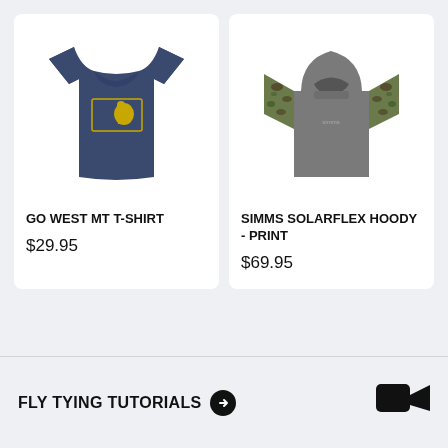[Figure (photo): Navy blue t-shirt with yellow Montana state outline and bear graphic]
GO WEST MT T-SHIRT
$29.95
[Figure (photo): Gray hoodie with camouflage print sleeves]
SIMMS SOLARFLEX HOODY - PRINT
$69.95
FLY TYING TUTORIALS →